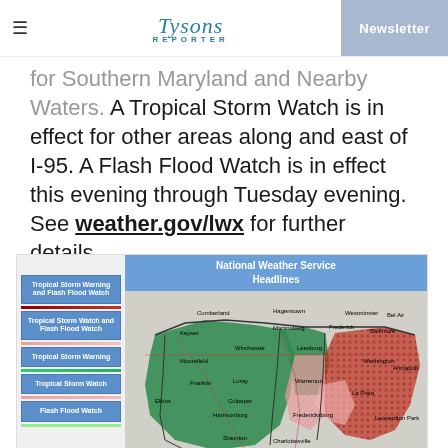Tysons Reporter | Newsletter
for Southern Maryland and Nearby Waters. A Tropical Storm Watch is in effect for other areas along and east of I-95. A Flash Flood Watch is in effect this evening through Tuesday evening. See weather.gov/lwx for further details.
[Figure (map): National Weather Service Headlines map showing Tropical Storm Warning, Flash Flood Watch, Tropical Storm Watch, and other weather alerts for the Mid-Atlantic region including Virginia, Maryland, and Washington DC area. Legend shows color-coded regions: dark red dotted for Tropical Storm Warning and Flash Flood Watch, pink hatched for Tropical Storm Watch and Flash Flood Watch, green for Tropical Storm Warning, light pink for Tropical Storm Watch, and light green for Flash Flood Watch.]